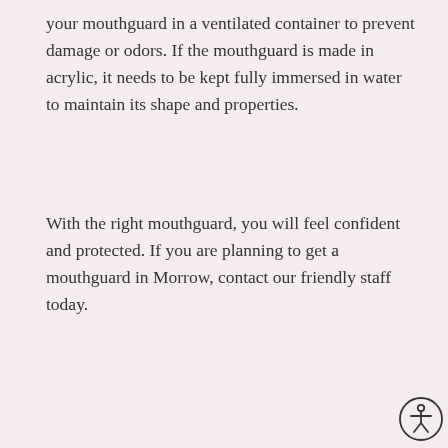your mouthguard in a ventilated container to prevent damage or odors. If the mouthguard is made in acrylic, it needs to be kept fully immersed in water to maintain its shape and properties.
With the right mouthguard, you will feel confident and protected. If you are planning to get a mouthguard in Morrow, contact our friendly staff today.
[Figure (illustration): Accessibility icon — a circle with a stylized human figure (stick person with arms outstretched), bottom-right corner of the page.]